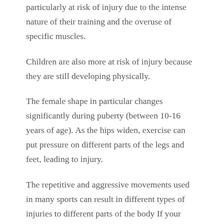particularly at risk of injury due to the intense nature of their training and the overuse of specific muscles.
Children are also more at risk of injury because they are still developing physically.
The female shape in particular changes significantly during puberty (between 10-16 years of age). As the hips widen, exercise can put pressure on different parts of the legs and feet, leading to injury.
The repetitive and aggressive movements used in many sports can result in different types of injuries to different parts of the body If your injury is severe you should visit your nearest accident and emergency (A&E) department. If the